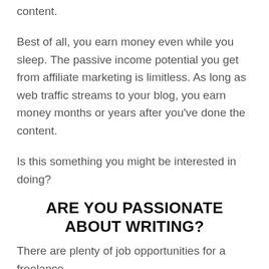content.
Best of all, you earn money even while you sleep. The passive income potential you get from affiliate marketing is limitless. As long as web traffic streams to your blog, you earn money months or years after you've done the content.
Is this something you might be interested in doing?
ARE YOU PASSIONATE ABOUT WRITING?
There are plenty of job opportunities for a freelance